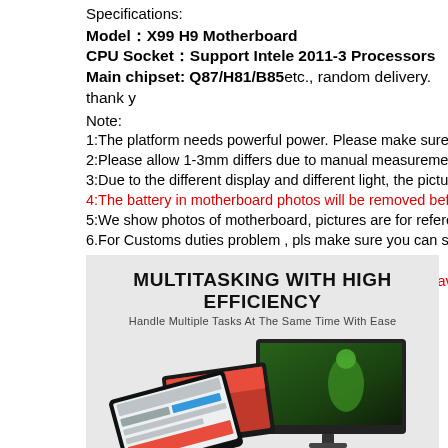Specifications:
Model：X99 H9 Motherboard
CPU Socket：Support Intele 2011-3 Processors
Main chipset: Q87/H81/B85etc., random delivery. thank y
Note:
1:The platform needs powerful power. Please make sure your pow
2:Please allow 1-3mm differs due to manual measurement.
3:Due to the different display and different light, the picture may no
4:The battery in motherboard photos will be removed before shippi
5:We show photos of motherboard, pictures are for reference only,
6.For Customs duties problem , pls make sure you can solve the c
Note：
Due to computer accessories is toomuch,are likely to have some s
[Figure (infographic): Promotional banner with text MULTITASKING WITH HIGH EFFICIENCY and subtitle Handle Multiple Tasks At The Same Time With Ease, with monitor/tablet illustrations below]